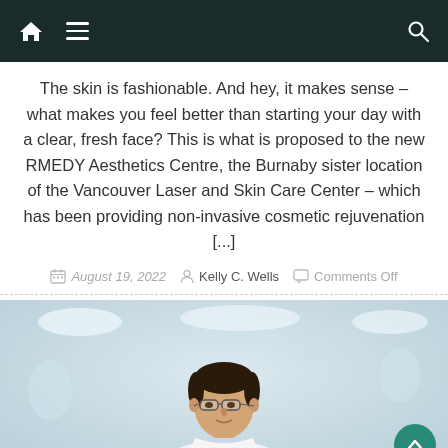Navigation bar with home icon, hamburger menu, and search icon
The skin is fashionable. And hey, it makes sense – what makes you feel better than starting your day with a clear, fresh face? This is what is proposed to the new RMEDY Aesthetics Centre, the Burnaby sister location of the Vancouver Laser and Skin Care Center – which has been providing non-invasive cosmetic rejuvenation [...]
August 19, 2022   Kelly C. Wells   Comments Off
[Figure (photo): Portrait photo of a male doctor wearing glasses and a white lab coat, blurred medical facility background with overhead lights]